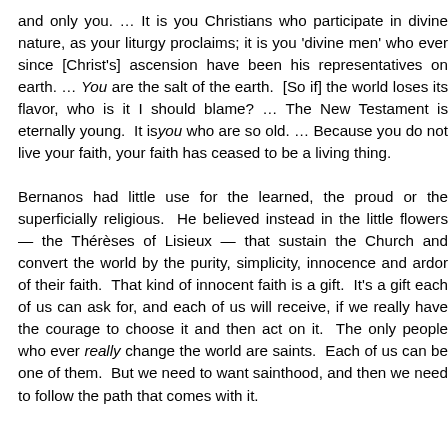and only you. … It is you Christians who participate in divine nature, as your liturgy proclaims; it is you 'divine men' who ever since [Christ's] ascension have been his representatives on earth. … You are the salt of the earth. [So if] the world loses its flavor, who is it I should blame? … The New Testament is eternally young. It is you who are so old. … Because you do not live your faith, your faith has ceased to be a living thing.
Bernanos had little use for the learned, the proud or the superficially religious. He believed instead in the little flowers — the Thérèses of Lisieux — that sustain the Church and convert the world by the purity, simplicity, innocence and ardor of their faith. That kind of innocent faith is a gift. It's a gift each of us can ask for, and each of us will receive, if we really have the courage to choose it and then act on it. The only people who ever really change the world are saints. Each of us can be one of them. But we need to want sainthood, and then we need to follow the path that comes with it.